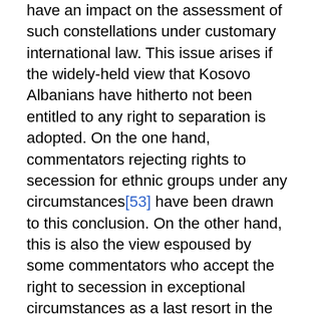have an impact on the assessment of such constellations under customary international law. This issue arises if the widely-held view that Kosovo Albanians have hitherto not been entitled to any right to separation is adopted. On the one hand, commentators rejecting rights to secession for ethnic groups under any circumstances[53] have been drawn to this conclusion. On the other hand, this is also the view espoused by some commentators who accept the right to secession in exceptional circumstances as a last resort in the face of severe human rights infringements. [54] In their opinion, the safeguarding of human rights has already been restored by UNMIK, meaning that no desperate situation existed which may have necessitated secession as a final means of recourse to protect human rights.
However, even for commentators who have already accepted a right to secession for Kosovo Albanians prior